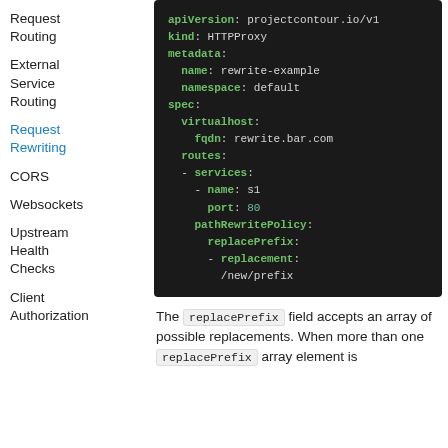Request Routing
External Service Routing
Request Rewriting
CORS
Websockets
Upstream Health Checks
Client Authorization
[Figure (screenshot): YAML code block showing HTTPProxy configuration with apiVersion, kind, metadata, spec, virtualhost, routes, services, pathRewritePolicy, and replacePrefix fields]
The replacePrefix field accepts an array of possible replacements. When more than one replacePrefix array element is